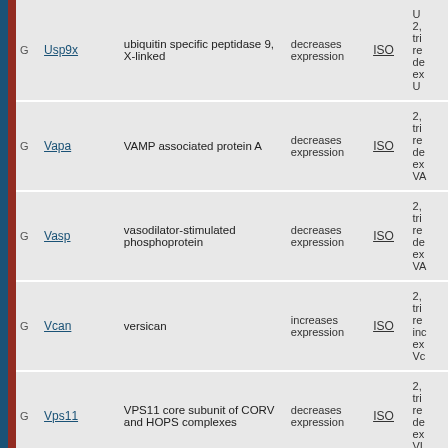|  | Gene | Description | Effect | Evidence |  |
| --- | --- | --- | --- | --- | --- |
| G | Usp9x | ubiquitin specific peptidase 9, X-linked | decreases expression | ISO | U 2, tri re de ex U |
| G | Vapa | VAMP associated protein A | decreases expression | ISO | 2, tri re de ex VA |
| G | Vasp | vasodilator-stimulated phosphoprotein | decreases expression | ISO | 2, tri re de ex VA |
| G | Vcan | versican | increases expression | ISO | 2, tri re inc ex Vc |
| G | Vps11 | VPS11 core subunit of CORV and HOPS complexes | decreases expression | ISO | 2, tri re de ex VI |
| G | Vps13c | vacuolar protein sorting 13 homolog C | increases expression | ISO | 2, tri re inc |
[Figure (infographic): UI overlay with thumbs up icon (blue circle), thumbs down icon (blue circle), close button (red X), and Send Message button (blue rounded rectangle)]